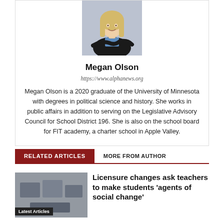[Figure (photo): Headshot photo of Megan Olson, a young woman with blonde hair wearing a black blazer, smiling with arms crossed]
Megan Olson
https://www.alphanews.org
Megan Olson is a 2020 graduate of the University of Minnesota with degrees in political science and history. She works in public affairs in addition to serving on the Legislative Advisory Council for School District 196. She is also on the school board for FIT academy, a charter school in Apple Valley.
RELATED ARTICLES
MORE FROM AUTHOR
Licensure changes ask teachers to make students 'agents of social change'
Latest Articles